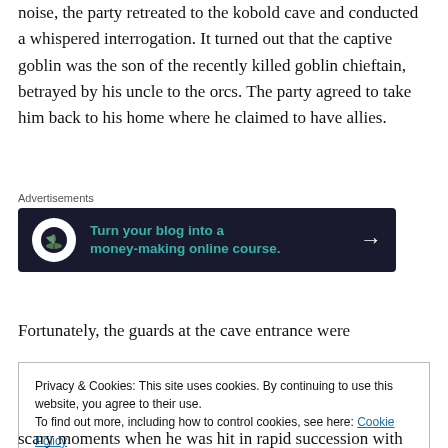noise, the party retreated to the kobold cave and conducted a whispered interrogation. It turned out that the captive goblin was the son of the recently killed goblin chieftain, betrayed by his uncle to the orcs. The party agreed to take him back to his home where he claimed to have allies.
[Figure (other): Advertisement banner with dark navy background showing a bonsai tree icon in a white circle on the left, teal bold text reading 'Turn your blog into a money-making online course.' in the center, and a white right arrow on the right. Labeled 'Advertisements' above.]
Fortunately, the guards at the cave entrance were
Privacy & Cookies: This site uses cookies. By continuing to use this website, you agree to their use.
To find out more, including how to control cookies, see here: Cookie Policy
scary moments when he was hit in rapid succession with